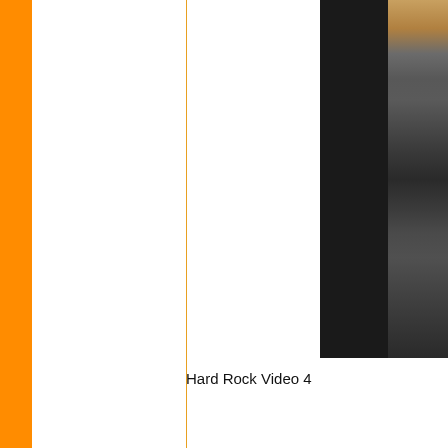[Figure (screenshot): A video player screenshot showing a dark scene with a figure and the message 'The player is havin' (truncated) overlaid in light text. The right portion shows a person with blonde hair against a dark textured background.]
Hard Rock Video 4